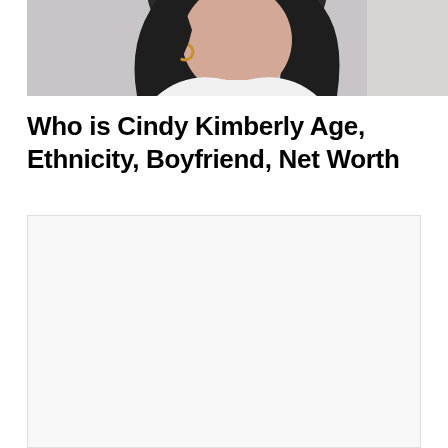[Figure (photo): A young woman with long dark hair, wearing hoop earrings and a white top, photographed from the side/front against a light background.]
Who is Cindy Kimberly Age, Ethnicity, Boyfriend, Net Worth
[Figure (other): A large white/empty content area below the title, likely an advertisement or placeholder block.]